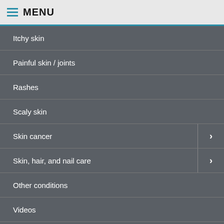MENU
Itchy skin
Painful skin / joints
Rashes
Scaly skin
Skin cancer
Skin, hair, and nail care
Other conditions
Videos
Pamphlets